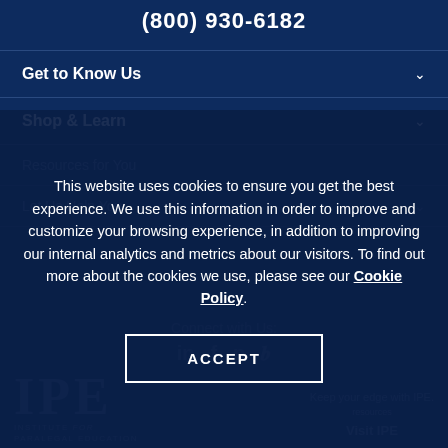(800) 930-6182
Get to Know Us
Shop & Learn
Resources for You
Let Us Help You
This website uses cookies to ensure you get the best experience. We use this information in order to improve and customize your browsing experience, in addition to improving our internal analytics and metrics about our visitors. To find out more about the cookies we use, please see our Cookie Policy.
ACCEPT
Connect with Us:
IPE Institute for Paralegal Education
Keep your edge with IPE. resources
Visit IPE